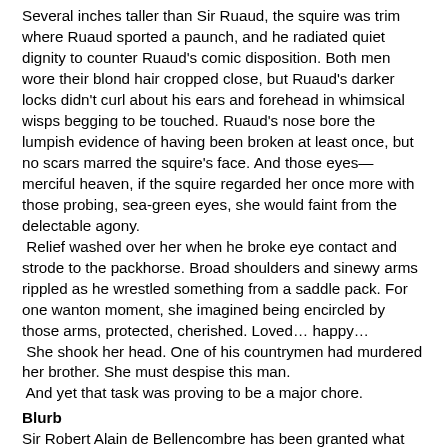Several inches taller than Sir Ruaud, the squire was trim where Ruaud sported a paunch, and he radiated quiet dignity to counter Ruaud's comic disposition. Both men wore their blond hair cropped close, but Ruaud's darker locks didn't curl about his ears and forehead in whimsical wisps begging to be touched. Ruaud's nose bore the lumpish evidence of having been broken at least once, but no scars marred the squire's face. And those eyes—merciful heaven, if the squire regarded her once more with those probing, sea-green eyes, she would faint from the delectable agony.  Relief washed over her when he broke eye contact and strode to the packhorse. Broad shoulders and sinewy arms rippled as he wrestled something from a saddle pack. For one wanton moment, she imagined being encircled by those arms, protected, cherished. Loved… happy…  She shook her head. One of his countrymen had murdered her brother. She must despise this man.  And yet that task was proving to be a major chore.
Blurb
Sir Robert Alain de Bellencombre has been granted what every man wants: a rich English estate in exchange for his valiant service at the Battle of Hastings. To claim this reward,